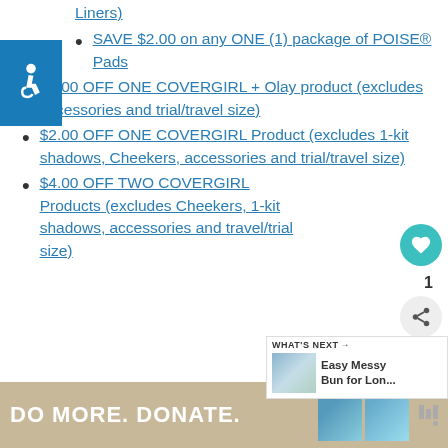Liners)
SAVE $2.00 on any ONE (1) package of POISE® Pads
$3.00 OFF ONE COVERGIRL + Olay product (excludes accessories and trial/travel size)
$2.00 OFF ONE COVERGIRL Product (excludes 1-kit shadows, Cheekers, accessories and trial/travel size)
$4.00 OFF TWO COVERGIRL Products (excludes Cheekers, 1-kit shadows, accessories and travel/trial size)
[Figure (screenshot): WHAT'S NEXT widget showing Easy Messy Bun for Lon... with thumbnail image]
[Figure (screenshot): Advertisement bar at bottom: DO MORE. DONATE. with people images and logo]